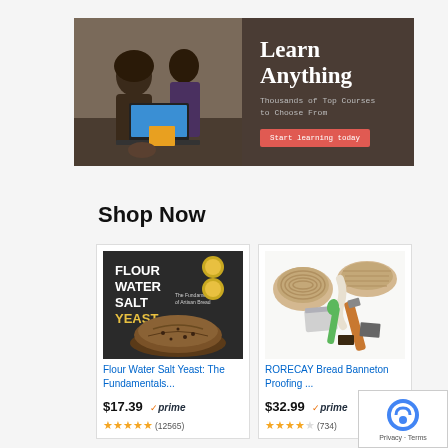[Figure (illustration): Banner ad with photo of people working on laptop and text 'Learn Anything - Thousands of Top Courses to Choose From' with red 'Start learning today' button]
Shop Now
[Figure (photo): Book cover: Flour Water Salt Yeast: The Fundamentals...]
Flour Water Salt Yeast: The Fundamentals...
$17.39 prime (12565)
[Figure (photo): RORECAY Bread Banneton Proofing kit with baskets and tools]
RORECAY Bread Banneton Proofing ...
$32.99 prime (734)